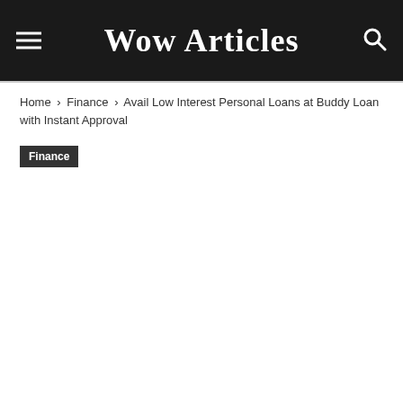Wow Articles
Home › Finance › Avail Low Interest Personal Loans at Buddy Loan with Instant Approval
Finance